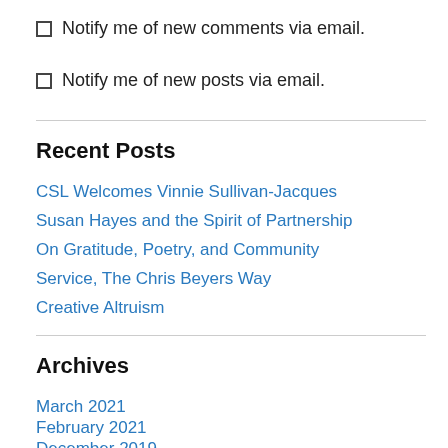Notify me of new comments via email.
Notify me of new posts via email.
Recent Posts
CSL Welcomes Vinnie Sullivan-Jacques
Susan Hayes and the Spirit of Partnership
On Gratitude, Poetry, and Community
Service, The Chris Beyers Way
Creative Altruism
Archives
March 2021
February 2021
December 2019
October 2019